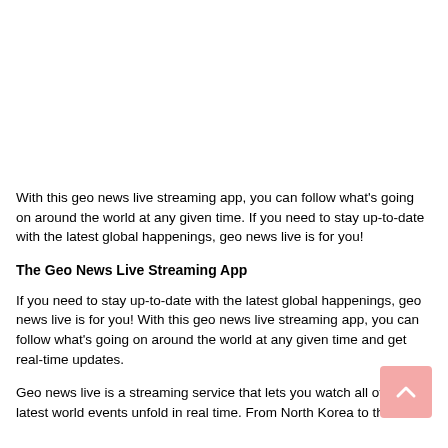With this geo news live streaming app, you can follow what's going on around the world at any given time. If you need to stay up-to-date with the latest global happenings, geo news live is for you!
The Geo News Live Streaming App
If you need to stay up-to-date with the latest global happenings, geo news live is for you! With this geo news live streaming app, you can follow what's going on around the world at any given time and get real-time updates.
Geo news live is a streaming service that lets you watch all of the latest world events unfold in real time. From North Korea to the